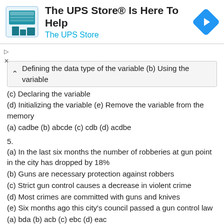[Figure (illustration): The UPS Store advertisement banner with store icon, text 'The UPS Store® Is Here To Help', subtitle 'The UPS Store', and a blue diamond arrow icon on the right.]
Defining the data type of the variable (b) Using the variable
(c) Declaring the variable
(d) Initializing the variable (e) Remove the variable from the memory
(a) cadbe (b) abcde (c) cdb (d) acdbe
5.
(a) In the last six months the number of robberies at gun point in the city has dropped by 18%
(b) Guns are necessary protection against robbers
(c) Strict gun control causes a decrease in violent crime
(d) Most crimes are committed with guns and knives
(e) Six months ago this city's council passed a gun control law
(a) bda (b) acb (c) ebc (d) eac
6.
(a) All missiles follow a fixed trajectory (b) The boomerang